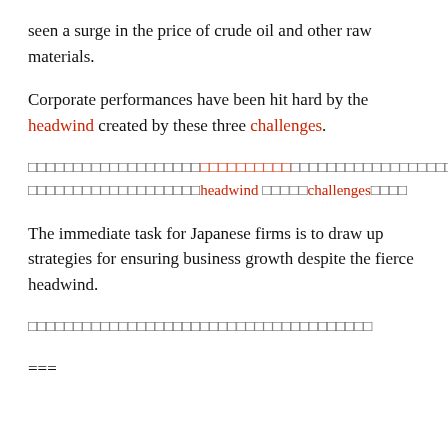seen a surge in the price of crude oil and other raw materials.
Corporate performances have been hit hard by the headwind created by these three challenges.
[Japanese text] headwind [Japanese text] challenges [Japanese text]
The immediate task for Japanese firms is to draw up strategies for ensuring business growth despite the fierce headwind.
[Japanese text]
===